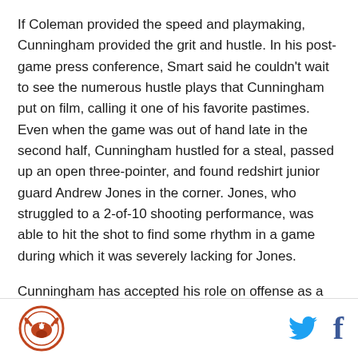If Coleman provided the speed and playmaking, Cunningham provided the grit and hustle. In his post-game press conference, Smart said he couldn't wait to see the numerous hustle plays that Cunningham put on film, calling it one of his favorite pastimes. Even when the game was out of hand late in the second half, Cunningham hustled for a steal, passed up an open three-pointer, and found redshirt junior guard Andrew Jones in the corner. Jones, who struggled to a 2-of-10 shooting performance, was able to hit the shot to find some rhythm in a game during which it was severely lacking for Jones.
Cunningham has accepted his role on offense as a
Logo and social icons